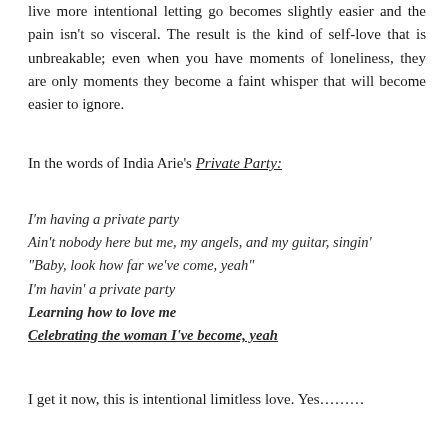live more intentional letting go becomes slightly easier and the pain isn't so visceral. The result is the kind of self-love that is unbreakable; even when you have moments of loneliness, they are only moments they become a faint whisper that will become easier to ignore.
In the words of India Arie's Private Party:
I'm having a private party
Ain't nobody here but me, my angels, and my guitar, singin'
“Baby, look how far we’ve come, yeah”
I’m havin’ a private party
Learning how to love me
Celebrating the woman I’ve become, yeah
I get it now, this is intentional limitless love. Yes…………